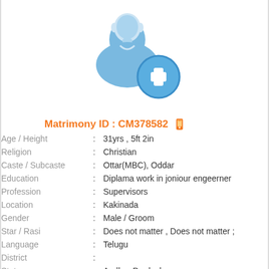[Figure (illustration): Profile placeholder icon: a blue silhouette of a person with a blue circle containing a white plus sign in the lower right corner]
Matrimony ID : CM378582
| Field | : | Value |
| --- | --- | --- |
| Age / Height | : | 31yrs , 5ft 2in |
| Religion | : | Christian |
| Caste / Subcaste | : | Ottar(MBC), Oddar |
| Education | : | Diplama work in joniour engeerner |
| Profession | : | Supervisors |
| Location | : | Kakinada |
| Gender | : | Male / Groom |
| Star / Rasi | : | Does not matter , Does not matter ; |
| Language | : | Telugu |
| District | : |  |
| State | : | Andhra Pradesh |
| Country | : | India |